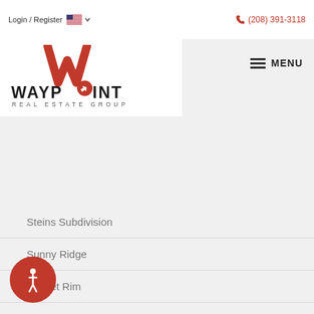Login / Register  (208) 391-3118
[Figure (logo): Waypoint Real Estate Group logo with red W and company name]
Steins Subdivision
Sunny Ridge
Sunset Rim
Sunset Subdivision
Superior Ridge
Surprise Valley
Table Rock Townhomes
a Nativa
[Figure (illustration): Accessibility icon badge - circular red badge with wheelchair symbol]